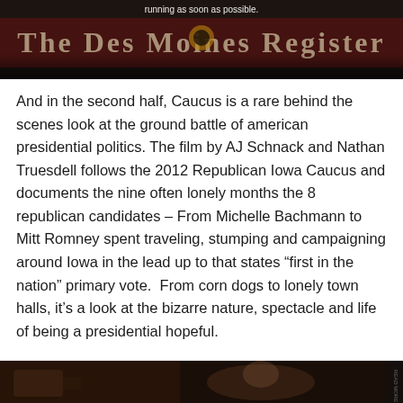[Figure (photo): Dark image showing a newspaper masthead that reads 'The Des Moines Register' in decorative serif font, partially obscured, against a dark background. White text overlay at top reads 'running as soon as possible.']
And in the second half, Caucus is a rare behind the scenes look at the ground battle of american presidential politics. The film by AJ Schnack and Nathan Truesdell follows the 2012 Republican Iowa Caucus and documents the nine often lonely months the 8 republican candidates – From Michelle Bachmann to Mitt Romney spent traveling, stumping and campaigning around Iowa in the lead up to that states “first in the nation” primary vote.  From corn dogs to lonely town halls, it’s a look at the bizarre nature, spectacle and life of being a presidential hopeful.
[Figure (photo): Dark photo showing what appears to be a person being filmed or photographed, with camera equipment visible, in an indoor setting.]